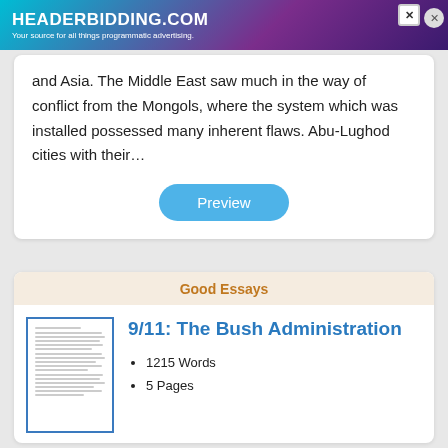[Figure (screenshot): HeaderBidding.com advertisement banner — teal/purple gradient background with white bold text 'HEADERBIDDING.COM' and subtitle 'Your source for all things programmatic advertising.']
and Asia. The Middle East saw much in the way of conflict from the Mongols, where the system which was installed possessed many inherent flaws. Abu-Lughod cities with their…
Preview
Good Essays
9/11: The Bush Administration
1215 Words
5 Pages